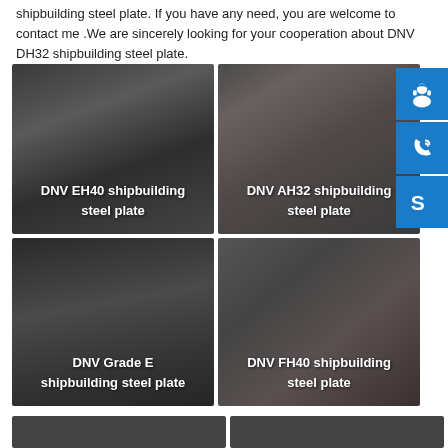shipbuilding steel plate. If you have any need, you are welcome to contact me .We are sincerely looking for your cooperation about DNV DH32 shipbuilding steel plate.
[Figure (photo): Photo of stacked steel plates labeled DNV EH40 shipbuilding steel plate]
[Figure (photo): Photo of stacked steel plates labeled DNV AH32 shipbuilding steel plate]
[Figure (illustration): Blue icon button with headset/customer service icon]
[Figure (illustration): Blue icon button with phone icon]
[Figure (illustration): Blue icon button with Skype icon]
[Figure (photo): Photo of stacked steel plates labeled DNV Grade E shipbuilding steel plate]
[Figure (photo): Photo of steel plates labeled DNV FH40 shipbuilding steel plate]
[Figure (photo): Partially visible photo strip at bottom left]
[Figure (photo): Partially visible photo strip at bottom right]